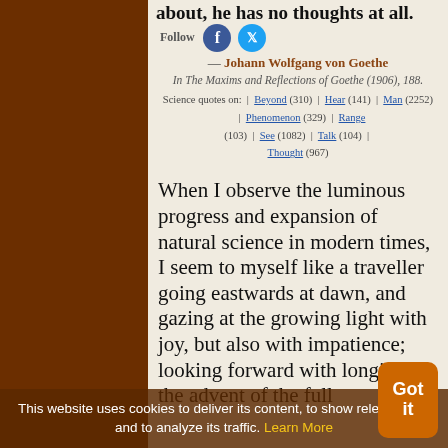about, he has no thoughts at all.
Follow
— Johann Wolfgang von Goethe
In The Maxims and Reflections of Goethe (1906), 188.
Science quotes on: | Beyond (310) | Hear (141) | Man (2252) | Phenomenon (329) | Range (103) | See (1082) | Talk (104) | Thought (967)
When I observe the luminous progress and expansion of natural science in modern times, I seem to myself like a traveller going eastwards at dawn, and gazing at the growing light with joy, but also with impatience; looking forward with longing to the advent of the full
This website uses cookies to deliver its content, to show relevant ads and to analyze its traffic. Learn More